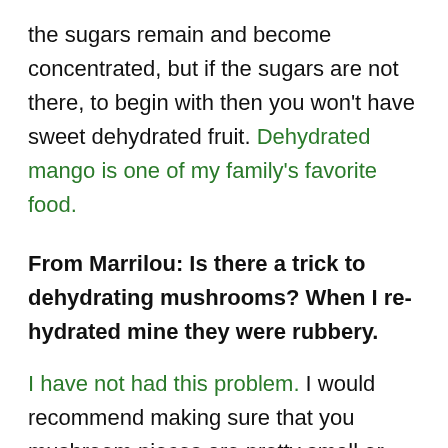the sugars remain and become concentrated, but if the sugars are not there, to begin with then you won't have sweet dehydrated fruit. Dehydrated mango is one of my family's favorite food.
From Marrilou: Is there a trick to dehydrating mushrooms? When I re-hydrated mine they were rubbery.
I have not had this problem. I would recommend making sure that you mushroom pieces are pretty small or thin and be sure they are completely dehydrated. Sometimes we think something is completely dehydrated because it feels dry on the